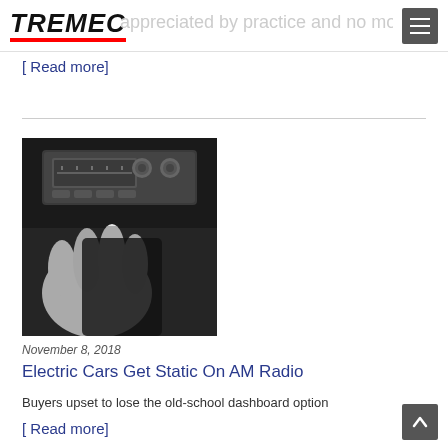TREMEC
[ Read more]
[Figure (photo): Black and white photo of a hand operating a classic car AM radio dashboard]
November 8, 2018
Electric Cars Get Static On AM Radio
Buyers upset to lose the old-school dashboard option
[ Read more]